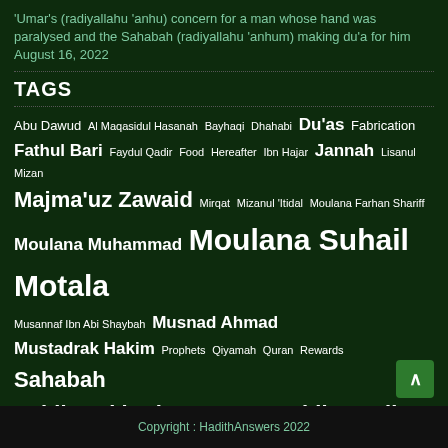'Umar's (radiyallahu 'anhu) concern for a man whose hand was paralysed and the Sahabah (radiyallahu 'anhum) making du'a for him August 16, 2022
TAGS
Abu Dawud Al Maqasidul Hasanah Bayhaqi Dhahabi Du'as Fabrication Fathul Bari Faydul Qadir Food Hereafter Ibn Hajar Jannah Lisanul Mizan Majma'uz Zawaid Mirqat Mizanul 'Itidal Moulana Farhan Shariff Moulana Muhammad Moulana Suhail Motala Musannaf Ibn Abi Shaybah Musnad Ahmad Mustadrak Hakim Prophets Qiyamah Quran Rewards Sahabah Sahih Bukhari Sahih Ibn Hibban Sahih Muslim Salah Shaykh Muhammad 'Awwamah Shu'abul Iman Sins Sirah Statements and Actions of Sahabah Statements of the pious Sunan Ibn Majah Tabarani Tanzihush Shari'ah Targhib Tirmidhi Unreliable narrations Untraceable Hadiths Women
Copyright : HadithAnswers 2022